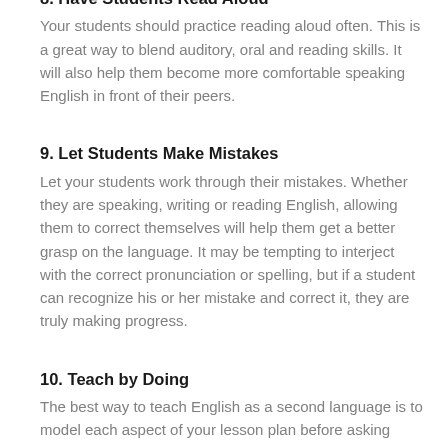8. Have Students Read Aloud
Your students should practice reading aloud often. This is a great way to blend auditory, oral and reading skills. It will also help them become more comfortable speaking English in front of their peers.
9. Let Students Make Mistakes
Let your students work through their mistakes. Whether they are speaking, writing or reading English, allowing them to correct themselves will help them get a better grasp on the language. It may be tempting to interject with the correct pronunciation or spelling, but if a student can recognize his or her mistake and correct it, they are truly making progress.
10. Teach by Doing
The best way to teach English as a second language is to model each aspect of your lesson plan before asking students to iterate it. Clearly pronounce words and sentences. Read aloud to the class and ask them to